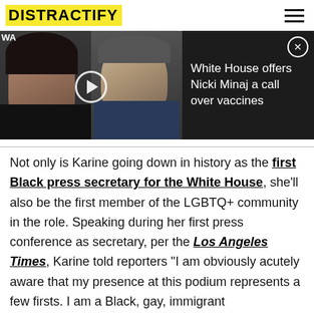DISTRACTIFY
[Figure (screenshot): Video thumbnail showing two people side by side with a play button. Right side shows dark background with text 'White House offers Nicki Minaj a call over vaccines' and a close (X) button.]
Not only is Karine going down in history as the first Black press secretary for the White House, she'll also be the first member of the LGBTQ+ community in the role. Speaking during her first press conference as secretary, per the Los Angeles Times, Karine told reporters "I am obviously acutely aware that my presence at this podium represents a few firsts. I am a Black, gay, immigrant